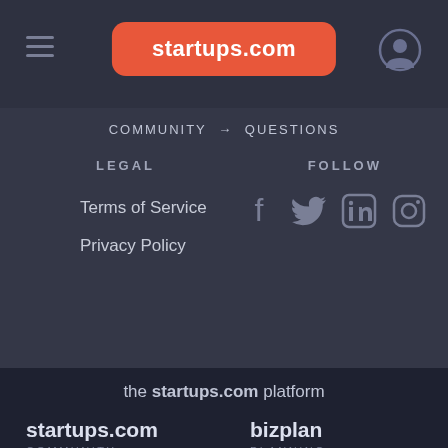startups.com
COMMUNITY → QUESTIONS
LEGAL
FOLLOW
Terms of Service
Privacy Policy
[Figure (illustration): Social media icons: Facebook, Twitter, LinkedIn, Instagram]
the startups.com platform
startups.com COMMUNITY
bizplan PLANNING
Clarity MENTORS
FUNDABLE FUNDING